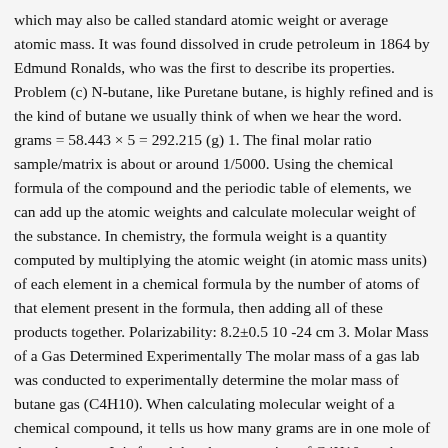which may also be called standard atomic weight or average atomic mass. It was found dissolved in crude petroleum in 1864 by Edmund Ronalds, who was the first to describe its properties. Problem (c) N-butane, like Puretane butane, is highly refined and is the kind of butane we usually think of when we hear the word. grams = 58.443 × 5 = 292.215 (g) 1. The final molar ratio sample/matrix is about or around 1/5000. Using the chemical formula of the compound and the periodic table of elements, we can add up the atomic weights and calculate molecular weight of the substance. In chemistry, the formula weight is a quantity computed by multiplying the atomic weight (in atomic mass units) of each element in a chemical formula by the number of atoms of that element present in the formula, then adding all of these products together. Polarizability: 8.2±0.5 10 -24 cm 3. Molar Mass of a Gas Determined Experimentally The molar mass of a gas lab was conducted to experimentally determine the molar mass of butane gas (C4H10). When calculating molecular weight of a chemical compound, it tells us how many grams are in one mole of that substance. It is found that the conversion of C4H10 reaches a maximum of about 72%. Academia.edu is a platform for academics to share research papers. Molecular mass (molecular weight) is the mass of one molecule of a substance and is expressed in the unified atomic mass units (u). Solution for C4H11 in the Check Prepared For...